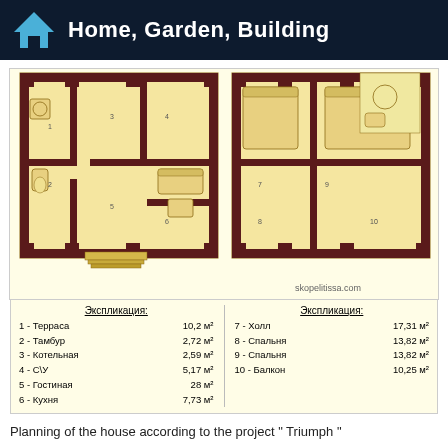Home, Garden, Building
[Figure (engineering-diagram): Two-floor architectural floor plan of house project 'Triumph'. Left side shows ground floor with rooms numbered 1-6 (Terrace, Tambur, Boiler room, Bathroom, Living room, Kitchen). Right side shows upper floor with rooms 7-10 (Hall, Bedroom, Bedroom, Balcony). Plans shown in beige/yellow with dark brown structural walls.]
Экспликация:
1 - Терраса 10,2 м²
2 - Тамбур 2,72 м²
3 - Котельная 2,59 м²
4 - С\У 5,17 м²
5 - Гостиная 28 м²
6 - Кухня 7,73 м²
Экспликация:
7 - Холл 17,31 м²
8 - Спальня 13,82 м²
9 - Спальня 13,82 м²
10 - Балкон 10,25 м²
Planning of the house according to the project " Triumph "
Characteristics: